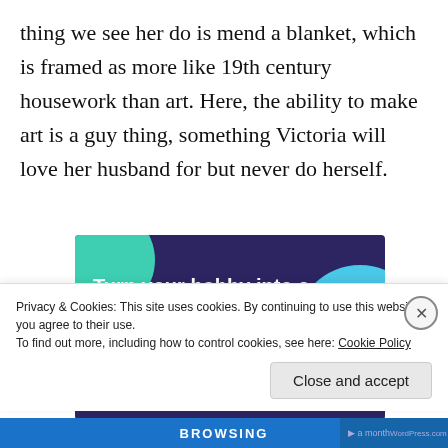thing we see her do is mend a blanket, which is framed as more like 19th century housework than art. Here, the ability to make art is a guy thing, something Victoria will love her husband for but never do herself.
[Figure (infographic): Dark purple advertisement banner with teal and blue circle decorations. Text reads 'Turn your hobby into a business in 8 steps' with a 'Start a new store' button.]
Privacy & Cookies: This site uses cookies. By continuing to use this website, you agree to their use.
To find out more, including how to control cookies, see here: Cookie Policy
Close and accept
BROWSING